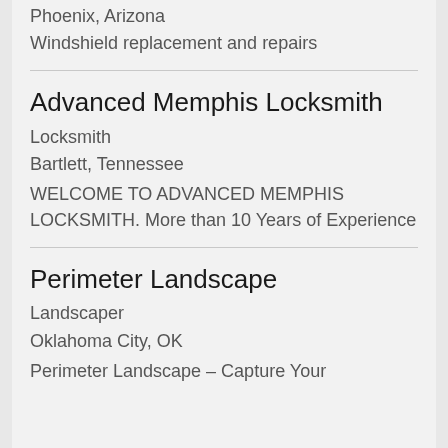Phoenix, Arizona
Windshield replacement and repairs
Advanced Memphis Locksmith
Locksmith
Bartlett, Tennessee
WELCOME TO ADVANCED MEMPHIS LOCKSMITH. More than 10 Years of Experience
Perimeter Landscape
Landscaper
Oklahoma City, OK
Perimeter Landscape – Capture Your